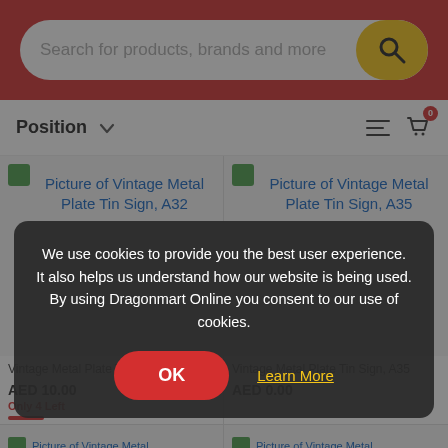[Figure (screenshot): E-commerce website screenshot showing search bar, product listing, and cookie consent overlay]
Search for products, brands and more
Position
Picture of Vintage Metal Plate Tin Sign, A32
Picture of Vintage Metal Plate Tin Sign, A35
Vintage Metal Plate Tin Sign, A32
Vintage Metal Plate Tin Sign, A35
AED 10.00
AED 0.00
Only 4 Left
We use cookies to provide you the best user experience. It also helps us understand how our website is being used. By using Dragonmart Online you consent to our use of cookies.
OK
Learn More